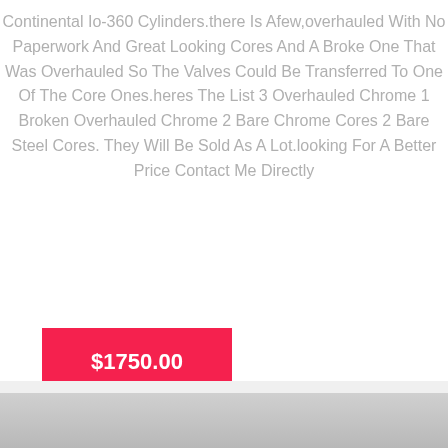Continental Io-360 Cylinders.there Is Afew,overhauled With No Paperwork And Great Looking Cores And A Broke One That Was Overhauled So The Valves Could Be Transferred To One Of The Core Ones.heres The List 3 Overhauled Chrome 1 Broken Overhauled Chrome 2 Bare Chrome Cores 2 Bare Steel Cores. They Will Be Sold As A Lot.looking For A Better Price Contact Me Directly
$1750.00
[Figure (photo): Bottom portion of page showing a light gray gradient area representing a photo or background image]